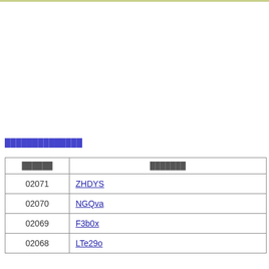██████████████
| ██████ | ███████ |
| --- | --- |
| 02071 | ZHDYS |
| 02070 | NGQva |
| 02069 | F3b0x |
| 02068 | LTe29o |